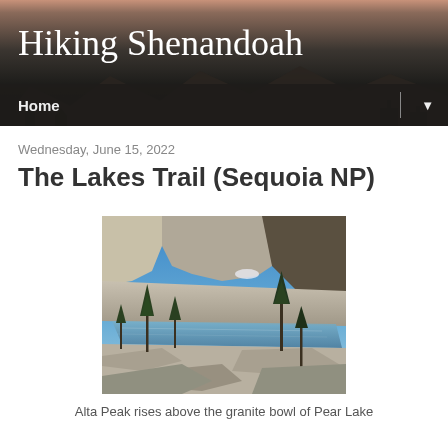Hiking Shenandoah
Home
Wednesday, June 15, 2022
The Lakes Trail (Sequoia NP)
[Figure (photo): Landscape photo showing Alta Peak rising above the granite bowl of Pear Lake, with alpine trees and reflective water in Sequoia National Park.]
Alta Peak rises above the granite bowl of Pear Lake